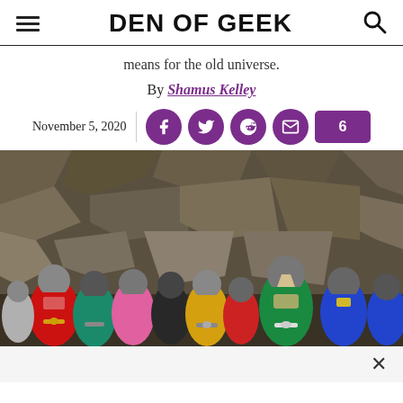DEN OF GEEK
means for the old universe.
By Shamus Kelley
November 5, 2020
[Figure (photo): Group of Power Rangers in colorful suits standing together outdoors in front of a rocky background. Rangers in red, green, pink, yellow, teal, and blue suits visible.]